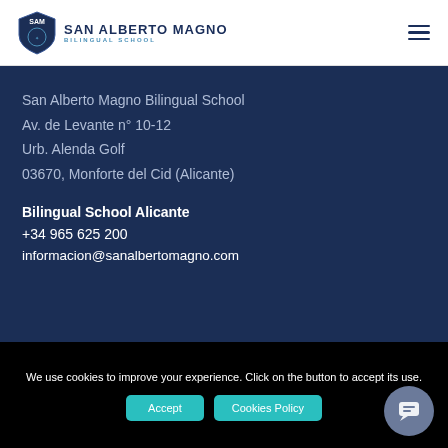SAN ALBERTO MAGNO BILINGUAL SCHOOL
San Alberto Magno Bilingual School
Av. de Levante n° 10-12
Urb. Alenda Golf
03670, Monforte del Cid (Alicante)
Bilingual School Alicante
+34 965 625 200
informacion@sanalbertomagno.com
We use cookies to improve your experience. Click on the button to accept its use.